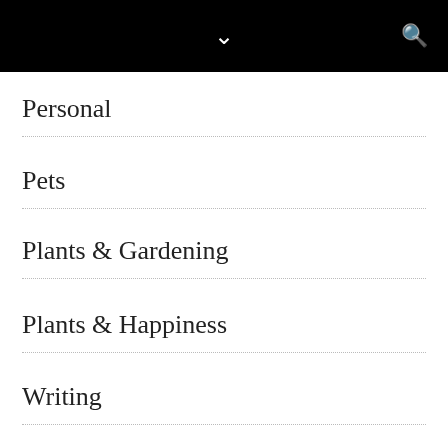Personal
Pets
Plants & Gardening
Plants & Happiness
Writing
FOLLOW BLOG
If you'd like instant notifications about this